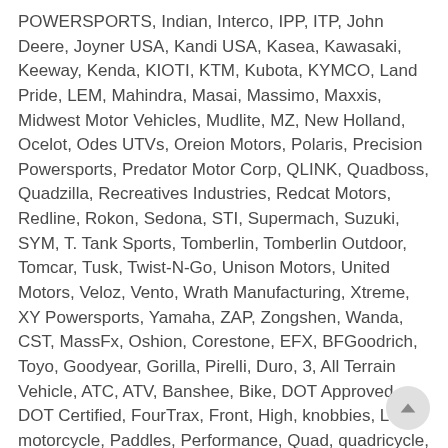POWERSPORTS, Indian, Interco, IPP, ITP, John Deere, Joyner USA, Kandi USA, Kasea, Kawasaki, Keeway, Kenda, KIOTI, KTM, Kubota, KYMCO, Land Pride, LEM, Mahindra, Masai, Massimo, Maxxis, Midwest Motor Vehicles, Mudlite, MZ, New Holland, Ocelot, Odes UTVs, Oreion Motors, Polaris, Precision Powersports, Predator Motor Corp, QLINK, Quadboss, Quadzilla, Recreatives Industries, Redcat Motors, Redline, Rokon, Sedona, STI, Supermach, Suzuki, SYM, T. Tank Sports, Tomberlin, Tomberlin Outdoor, Tomcar, Tusk, Twist-N-Go, Unison Motors, United Motors, Veloz, Vento, Wrath Manufacturing, Xtreme, XY Powersports, Yamaha, ZAP, Zongshen, Wanda, CST, MassFx, Oshion, Corestone, EFX, BFGoodrich, Toyo, Goodyear, Gorilla, Pirelli, Duro, 3, All Terrain Vehicle, ATC, ATV, Banshee, Bike, DOT Approved, DOT Certified, FourTrax, Front, High, knobbies, Left, motorcycle, Paddles, Performance, Quad, quadricycle, Radial, Rear, Right, Side by Side, tandem, Tecate-4, Three, TRX, Tubeless, Tyre, Tyres, UTV, wheeler, Terrabite, Cross Country, Desert, Enduro, Hard Rock, Intermediate, Motocross, Mud, Rocky, Sand, Snow